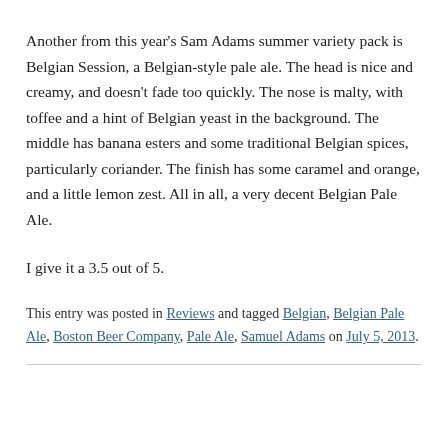Another from this year's Sam Adams summer variety pack is Belgian Session, a Belgian-style pale ale. The head is nice and creamy, and doesn't fade too quickly. The nose is malty, with toffee and a hint of Belgian yeast in the background. The middle has banana esters and some traditional Belgian spices, particularly coriander. The finish has some caramel and orange, and a little lemon zest. All in all, a very decent Belgian Pale Ale.
I give it a 3.5 out of 5.
This entry was posted in Reviews and tagged Belgian, Belgian Pale Ale, Boston Beer Company, Pale Ale, Samuel Adams on July 5, 2013.